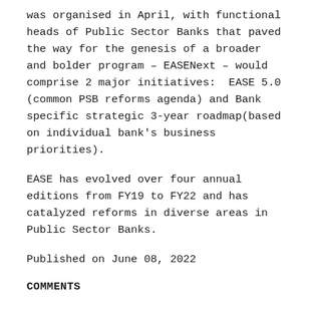was organised in April, with functional heads of Public Sector Banks that paved the way for the genesis of a broader and bolder program – EASENext – would comprise 2 major initiatives:  EASE 5.0 (common PSB reforms agenda) and Bank specific strategic 3-year roadmap(based on individual bank's business priorities).
EASE has evolved over four annual editions from FY19 to FY22 and has catalyzed reforms in diverse areas in Public Sector Banks.
Published on June 08, 2022
COMMENTS